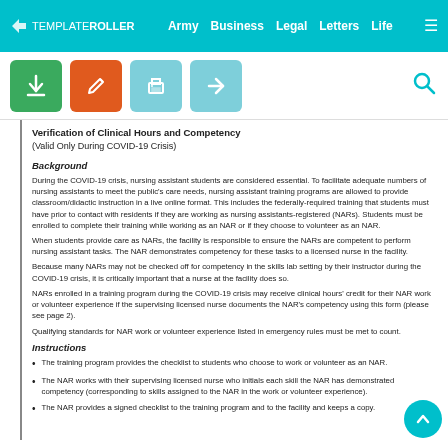TEMPLATEROLLER  Army  Business  Legal  Letters  Life
Verification of Clinical Hours and Competency
(Valid Only During COVID-19 Crisis)
Background
During the COVID-19 crisis, nursing assistant students are considered essential. To facilitate adequate numbers of nursing assistants to meet the public's care needs, nursing assistant training programs are allowed to provide classroom/didactic instruction in a live online format. This includes the federally-required training that students must have prior to contact with residents if they are working as nursing assistants-registered (NARs). Students must be enrolled to complete their training while working as an NAR or if they choose to volunteer as an NAR.
When students provide care as NARs, the facility is responsible to ensure the NARs are competent to perform nursing assistant tasks. The NAR demonstrates competency for these tasks to a licensed nurse in the facility.
Because many NARs may not be checked off for competency in the skills lab setting by their instructor during the COVID-19 crisis, it is critically important that a nurse at the facility does so.
NARs enrolled in a training program during the COVID-19 crisis may receive clinical hours' credit for their NAR work or volunteer experience if the supervising licensed nurse documents the NAR's competency using this form (please see page 2).
Qualifying standards for NAR work or volunteer experience listed in emergency rules must be met to count.
Instructions
The training program provides the checklist to students who choose to work or volunteer as an NAR.
The NAR works with their supervising licensed nurse who initials each skill the NAR has demonstrated competency (corresponding to skills assigned to the NAR in the work or volunteer experience).
The NAR provides a signed checklist to the training program and to the facility and keeps a copy.